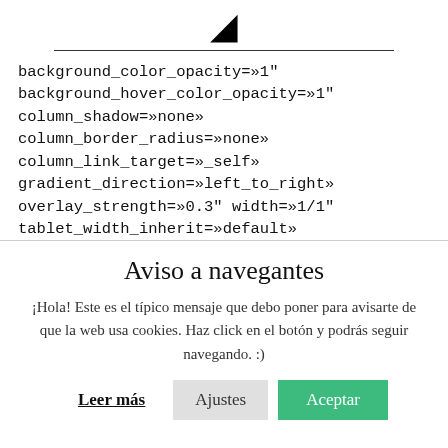[Figure (logo): Shark fin icon above a horizontal rule]
background_color_opacity=»1"
background_hover_color_opacity=»1"
column_shadow=»none»
column_border_radius=»none»
column_link_target=»_self»
gradient_direction=»left_to_right»
overlay_strength=»0.3" width=»1/1"
tablet_width_inherit=»default»
Aviso a navegantes
¡Hola! Este es el típico mensaje que debo poner para avisarte de que la web usa cookies. Haz click en el botón y podrás seguir navegando. :)
Leer más   Ajustes   Aceptar